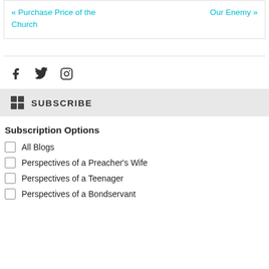« Purchase Price of the Church
Our Enemy »
[Figure (other): Social media icons: Facebook, Twitter, Instagram]
SUBSCRIBE
Subscription Options
All Blogs
Perspectives of a Preacher's Wife
Perspectives of a Teenager
Perspectives of a Bondservant